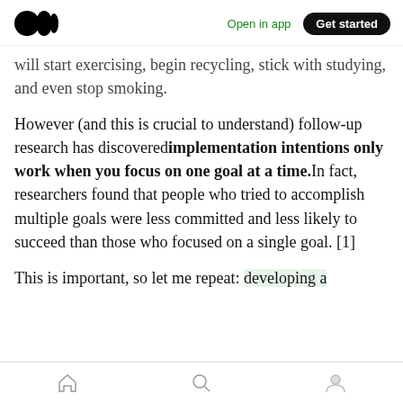Open in app | Get started
will start exercising, begin recycling, stick with studying, and even stop smoking.
However (and this is crucial to understand) follow-up research has discovered implementation intentions only work when you focus on one goal at a time. In fact, researchers found that people who tried to accomplish multiple goals were less committed and less likely to succeed than those who focused on a single goal. [1]
This is important, so let me repeat: developing a
Home | Search | Profile